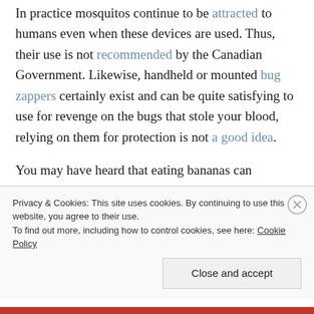In practice mosquitos continue to be attracted to humans even when these devices are used. Thus, their use is not recommended by the Canadian Government. Likewise, handheld or mounted bug zappers certainly exist and can be quite satisfying to use for revenge on the bugs that stole your blood, relying on them for protection is not a good idea.
You may have heard that eating bananas can alternatively make mosquitos more or less attracted to you. The claims of banana's repelling power stem
Privacy & Cookies: This site uses cookies. By continuing to use this website, you agree to their use.
To find out more, including how to control cookies, see here: Cookie Policy
Close and accept